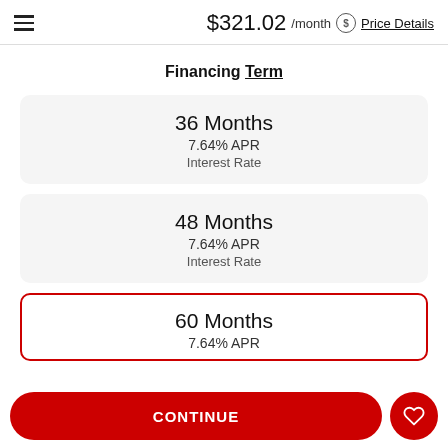$321.02 /month  Price Details
Financing Term
36 Months
7.64% APR
Interest Rate
48 Months
7.64% APR
Interest Rate
60 Months
7.64% APR
CONTINUE